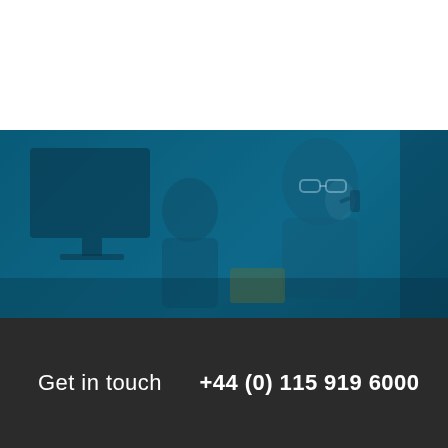[Figure (photo): A person with glasses sitting at a desk, with a blue-tinted overlay on the photo. The image shows an office scene with a monitor and the person appears to be on the phone or in conversation.]
Get in touch   +44 (0) 115 919 6000